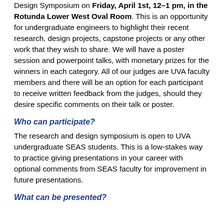Design Symposium on Friday, April 1st, 12–1 pm, in the Rotunda Lower West Oval Room. This is an opportunity for undergraduate engineers to highlight their recent research, design projects, capstone projects or any other work that they wish to share. We will have a poster session and powerpoint talks, with monetary prizes for the winners in each category. All of our judges are UVA faculty members and there will be an option for each participant to receive written feedback from the judges, should they desire specific comments on their talk or poster.
Who can participate?
The research and design symposium is open to UVA undergraduate SEAS students. This is a low-stakes way to practice giving presentations in your career with optional comments from SEAS faculty for improvement in future presentations.
What can be presented?